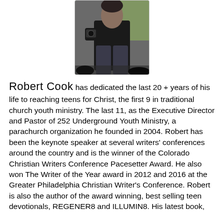[Figure (photo): Black and white photo of Robert Cook, a man in a dark long-sleeve shirt and jeans, standing outdoors near vehicles.]
Robert Cook has dedicated the last 20 + years of his life to reaching teens for Christ, the first 9 in traditional church youth ministry. The last 11, as the Executive Director and Pastor of 252 Underground Youth Ministry, a parachurch organization he founded in 2004. Robert has been the keynote speaker at several writers' conferences around the country and is the winner of the Colorado Christian Writers Conference Pacesetter Award. He also won The Writer of the Year award in 2012 and 2016 at the Greater Philadelphia Christian Writer's Conference. Robert is also the author of the award winning, best selling teen devotionals, REGENER8 and ILLUMIN8. His latest book, Youth and the depth of Traditional Youth Ministry…